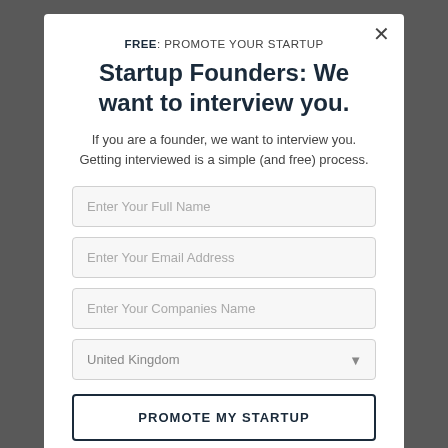FREE: PROMOTE YOUR STARTUP
Startup Founders: We want to interview you.
If you are a founder, we want to interview you. Getting interviewed is a simple (and free) process.
Enter Your Full Name
Enter Your Email Address
Enter Your Companies Name
United Kingdom
PROMOTE MY STARTUP